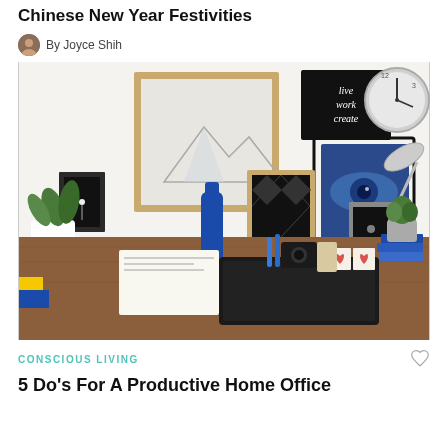Chinese New Year Festivities
By Joyce Shih
[Figure (photo): A stylish home office desk with a wooden surface holding a laptop, papers, a blue bottle, a camera, small decorative cubes, and a plant. On the wall behind are various framed artworks and photographs, a clock, and a desk lamp.]
CONSCIOUS LIVING
5 Do's For A Productive Home Office